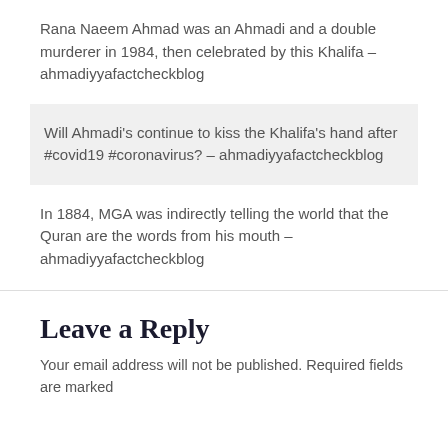Rana Naeem Ahmad was an Ahmadi and a double murderer in 1984, then celebrated by this Khalifa – ahmadiyyafactcheckblog
Will Ahmadi's continue to kiss the Khalifa's hand after #covid19 #coronavirus? – ahmadiyyafactcheckblog
In 1884, MGA was indirectly telling the world that the Quran are the words from his mouth – ahmadiyyafactcheckblog
Leave a Reply
Your email address will not be published. Required fields are marked